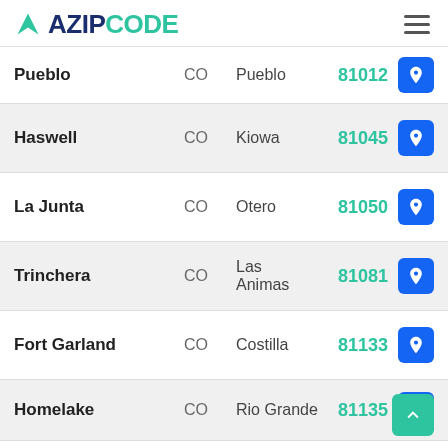AZIPCODE
| City | State | County | ZIP |
| --- | --- | --- | --- |
| Pueblo | CO | Pueblo | 81012 |
| Haswell | CO | Kiowa | 81045 |
| La Junta | CO | Otero | 81050 |
| Trinchera | CO | Las Animas | 81081 |
| Fort Garland | CO | Costilla | 81133 |
| Homelake | CO | Rio Grande | 81135 |